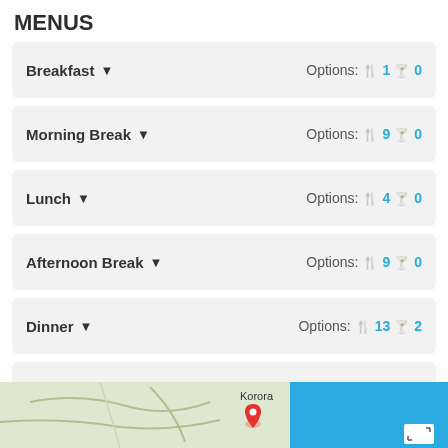MENUS
Breakfast  Options: 1  0
Morning Break  Options: 9  0
Lunch  Options: 4  0
Afternoon Break  Options: 9  0
Dinner  Options: 13  2
Cocktail  Options: 8  2
[Figure (map): Map snippet showing Korora location with red pin marker, partial blue water area on right side, expand icon in bottom right corner]